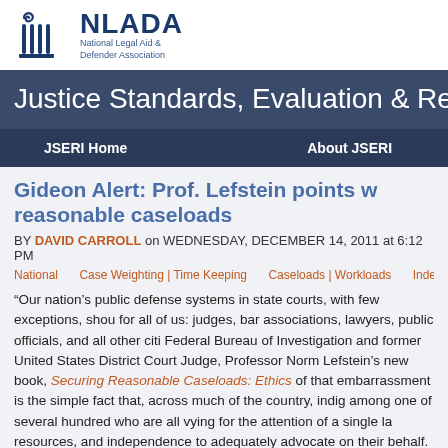[Figure (logo): NLADA National Legal Aid & Defender Association logo with columned building icon]
Justice Standards, Evaluation & Re...
JSERI Home    About JSERI
Gideon Alert: Prof. Lefstein points w... reasonable caseloads
BY DAVID CARROLL on WEDNESDAY, DECEMBER 14, 2011 at 6:12 PM
National    Case Weighting | Time Keeping    Caseloads | Workloads    Indep...
“Our nation’s public defense systems in state courts, with few exceptions, shou... for all of us: judges, bar associations, lawyers, public officials, and all other citi... Federal Bureau of Investigation and former United States District Court Judge,... Professor Norm Lefstein’s new book, Securing Reasonable Caseloads: Ethics... of that embarrassment is the simple fact that, across much of the country, indig... among one of several hundred who are all vying for the attention of a single la... resources, and independence to adequately advocate on their behalf.  States m... meaningful supervision or accountability for the representation provided by...